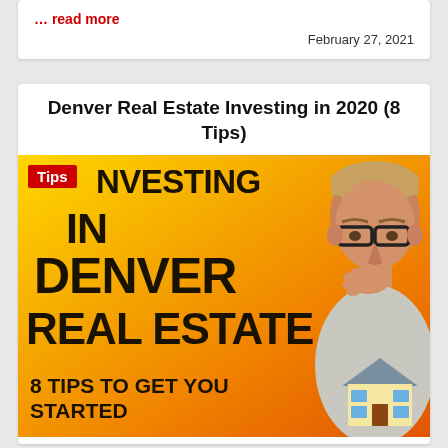… read more
February 27, 2021
Denver Real Estate Investing in 2020 (8 Tips)
[Figure (photo): Thumbnail image for a real estate investing video. Yellow-to-orange gradient background with bold black text reading 'INVESTING IN DENVER REAL ESTATE' and '8 TIPS TO GET YOU STARTED'. A red badge in the top-left reads 'Tips'. A man with glasses and short hair is visible on the right side with his hand on his chin. A house emoji/icon appears in the bottom right.]